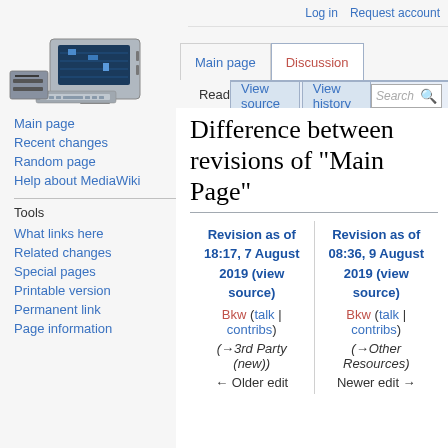Log in  Request account
[Figure (illustration): Vintage computer/terminal with keyboard and monitor, MediaWiki logo area]
Main page  Discussion  Read  View source  View history  Search
Difference between revisions of "Main Page"
Main page
Recent changes
Random page
Help about MediaWiki
Tools
What links here
Related changes
Special pages
Printable version
Permanent link
Page information
| Revision as of 18:17, 7 August 2019 (view source) | Revision as of 08:36, 9 August 2019 (view source) |
| --- | --- |
| Bkw (talk | contribs) | Bkw (talk | contribs) |
| (→3rd Party (new)) | (→Other Resources) |
| ← Older edit | Newer edit → |